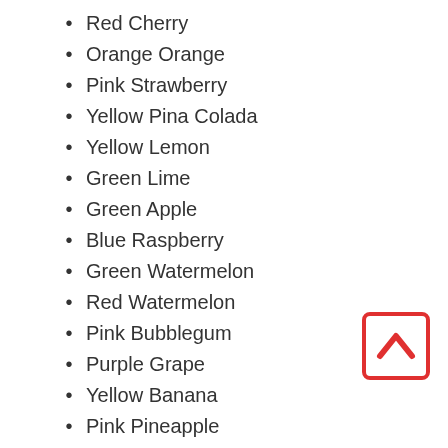Red Cherry
Orange Orange
Pink Strawberry
Yellow Pina Colada
Yellow Lemon
Green Lime
Green Apple
Blue Raspberry
Green Watermelon
Red Watermelon
Pink Bubblegum
Purple Grape
Yellow Banana
Pink Pineapple
Red Cinnamon
White Citrus
White Vanilla
Pink Vanilla
[Figure (illustration): A red-bordered square button with a red upward-pointing chevron arrow icon in the center]